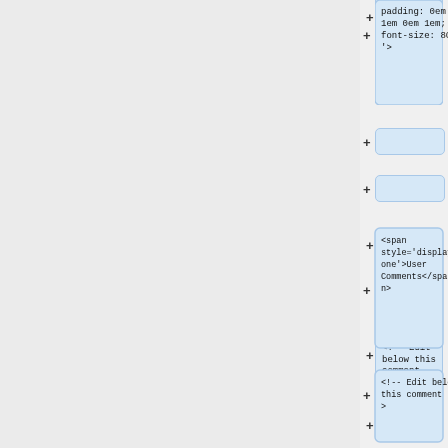[Figure (screenshot): A code diff/tree view UI screenshot showing a left gray panel and right panel with blue highlighted node boxes containing HTML/CSS code snippets. Nodes show: 'padding: 0em 1em 0em 1em; font-size: 80%; >', '<span style=display:none>User Comments</span>', '<!-- Edit below this comment -->', two empty nodes, '<!-- Pod2Wiki= -->', '</div>'. Each node has a '+' expand button on its left.]